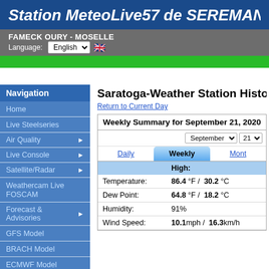Station MeteoLive57 de SEREMAN
FAMECK OURY - MOSELLE
Language: English
Navigation
Home
Live Steelseries
Air Quality
Live Console
Satellite/Radar
Weathercam Live FOSCAM
Forecast & Advisories
GFS Model
BRACH Model
ECMWF Model
Almanac
Saratoga-Weather Station Historical
Return to Current Day
Weekly Summary for September 21, 2020
|  | High: |
| --- | --- |
| Temperature: | 86.4 °F / 30.2 °C |
| Dew Point: | 64.8 °F / 18.2 °C |
| Humidity: | 91% |
| Wind Speed: | 10.1mph / 16.3km/h |